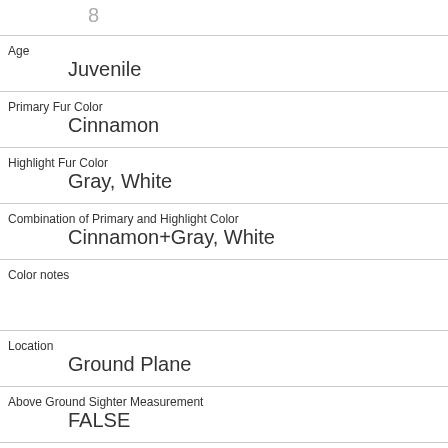| 8 |
| Age | Juvenile |
| Primary Fur Color | Cinnamon |
| Highlight Fur Color | Gray, White |
| Combination of Primary and Highlight Color | Cinnamon+Gray, White |
| Color notes |  |
| Location | Ground Plane |
| Above Ground Sighter Measurement | FALSE |
| Specific Location |  |
| Running | 0 |
| Chasing | 0 |